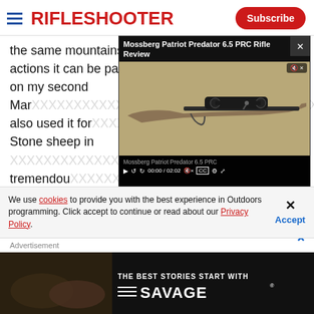RIFLESHOOTER | Subscribe
the same mountains--and I like very much the short actions it can be packaged in. I used the .270 WSM on my second Mar... also used it for... Stone sheep in ... me tremendously... expect I will use...
[Figure (screenshot): Embedded video player showing Mossberg Patriot Predator 6.5 PRC Rifle Review with rifle image and controls showing 00:00 / 02:02]
BULLETS
We use cookies to provide you with the best experience in Outdoors programming. Click accept to continue or read about our Privacy Policy.
Advertisement
[Figure (photo): Savage Arms advertisement banner: THE BEST STORIES START WITH SAVAGE]